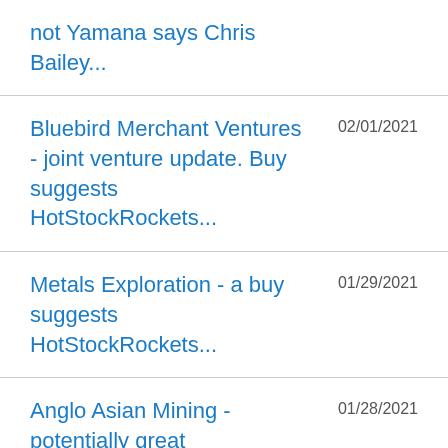not Yamana says Chris Bailey...
Bluebird Merchant Ventures - joint venture update. Buy suggests HotStockRockets...
Metals Exploration - a buy suggests HotStockRockets...
Anglo Asian Mining - potentially great